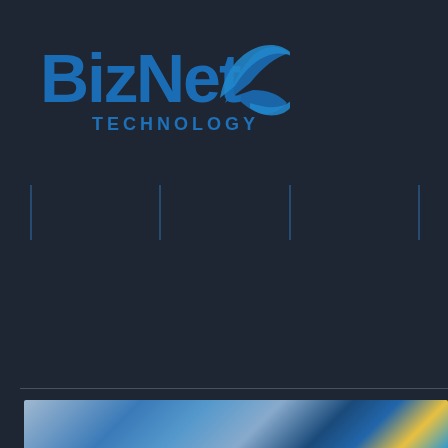[Figure (logo): BizNet Technology logo with blue bold text 'BizNet' and blue swoosh/orbit graphic element, with 'TECHNOLOGY' in smaller blue capital letters below]
[Figure (photo): Partial photo at bottom of page showing blurred technology-related items in shades of blue, white, and yellow]